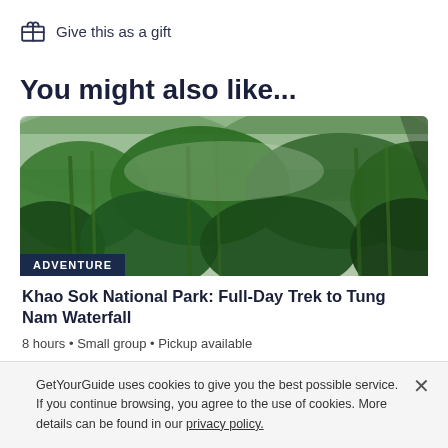Give this as a gift
You might also like...
[Figure (photo): Lush green bamboo/tropical forest canopy viewed from below, with an ADVENTURE badge overlay in the lower left corner]
Khao Sok National Park: Full-Day Trek to Tung Nam Waterfall
8 hours • Small group • Pickup available
GetYourGuide uses cookies to give you the best possible service. If you continue browsing, you agree to the use of cookies. More details can be found in our privacy policy.